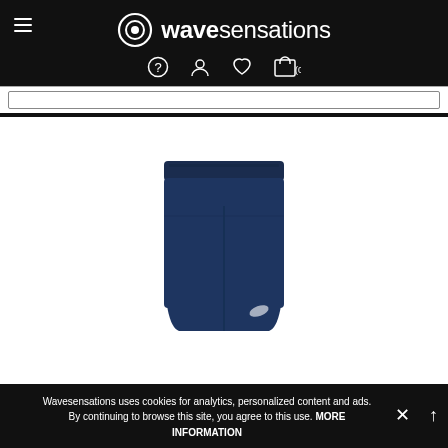wavesensations
[Figure (screenshot): Website header for wavesensations with logo, hamburger menu, navigation icons (help, user, wishlist, cart with 0 items), and a search bar below]
[Figure (photo): Navy blue athletic shorts (Asics brand) shown on white background]
Wavesensations uses cookies for analytics, personalized content and ads. By continuing to browse this site, you agree to this use. MORE INFORMATION